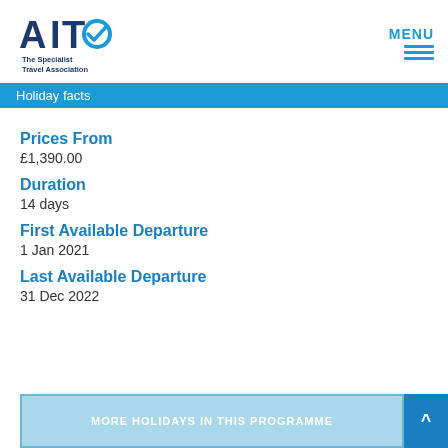[Figure (logo): AITO – The Specialist Travel Association logo with stylized A and checkmark]
Holiday facts
Prices From
£1,390.00
Duration
14 days
First Available Departure
1 Jan 2021
Last Available Departure
31 Dec 2022
MORE HOLIDAYS IN THIS PROGRAMME